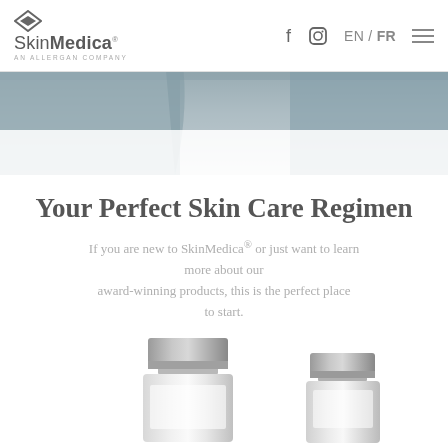SkinMedica® AN ALLERGAN COMPANY  f  [instagram]  EN / FR  [menu]
[Figure (photo): Hero image showing a person wearing a grey knit sweater/jacket, close-up of torso/shoulder area]
Your Perfect Skin Care Regimen
If you are new to SkinMedica® or just want to learn more about our award-winning products, this is the perfect place to start.
[Figure (photo): Two SkinMedica product bottles/dispensers shown at bottom of page, silver/chrome finish with clear glass]